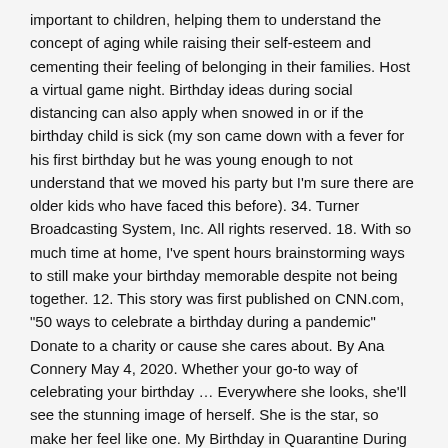important to children, helping them to understand the concept of aging while raising their self-esteem and cementing their feeling of belonging in their families. Host a virtual game night. Birthday ideas during social distancing can also apply when snowed in or if the birthday child is sick (my son came down with a fever for his first birthday but he was young enough to not understand that we moved his party but I'm sure there are older kids who have faced this before). 34. Turner Broadcasting System, Inc. All rights reserved. 18. With so much time at home, I've spent hours brainstorming ways to still make your birthday memorable despite not being together. 12. This story was first published on CNN.com, "50 ways to celebrate a birthday during a pandemic" Donate to a charity or cause she cares about. By Ana Connery May 4, 2020. Whether your go-to way of celebrating your birthday ... Everywhere she looks, she'll see the stunning image of herself. She is the star, so make her feel like one. My Birthday in Quarantine During a Pandemic Today was my birthday. You think it might be hard to celebrate a milestone birthday in a pandemic but for one daughter, it's the thought that counts. 50. This one is 100% a pandemic innovation, triggered by the thousands of life events that couldn't be celebrated during these times of social distancing. nuts. To the rest of the internet: Looking over the list, I can see this working as a gift for your loved ones as well, for birthdays and holidays, and just-because-you're-special days. Grab your masks and practice social distancing if you're not a part of the same household. And I came up